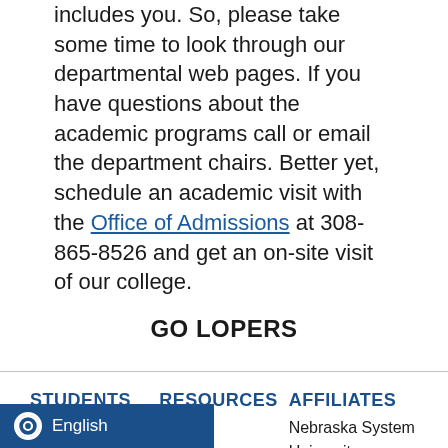We have a bright vision for the future that includes you. So, please take some time to look through our departmental web pages. If you have questions about the academic programs call or email the department chairs. Better yet, schedule an academic visit with the Office of Admissions at 308-865-8526 and get an on-site visit of our college.
GO LOPERS
STUDENTS
Financial Aid
Course Catalogs
Academic Calendar
RESOURCES
MyBlue
Canvas
IT Services
Firefly
AFFILIATES
Nebraska System
University
Foundation
Alumni Association